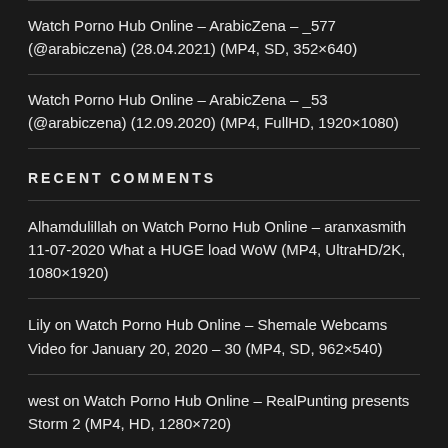Watch Porno Hub Online – ArabicZena – _577 (@arabiczena) (28.04.2021) (MP4, SD, 352×640)
Watch Porno Hub Online – ArabicZena – _53 (@arabiczena) (12.09.2020) (MP4, FullHD, 1920×1080)
RECENT COMMENTS
Alhamdulillah on Watch Porno Hub Online – aranxasmith 11-07-2020 What a HUGE load WoW (MP4, UltraHD/2K, 1080×1920)
Lily on Watch Porno Hub Online – Shemale Webcams Video for January 20, 2020 – 30 (MP4, SD, 962×540)
west on Watch Porno Hub Online – RealPunting presents Storm 2 (MP4, HD, 1280×720)